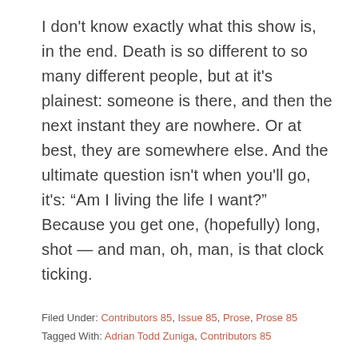I don't know exactly what this show is, in the end. Death is so different to so many different people, but at it's plainest: someone is there, and then the next instant they are nowhere. Or at best, they are somewhere else. And the ultimate question isn't when you'll go, it's: “Am I living the life I want?” Because you get one, (hopefully) long, shot — and man, oh, man, is that clock ticking.
Filed Under: Contributors 85, Issue 85, Prose, Prose 85
Tagged With: Adrian Todd Zuniga, Contributors 85